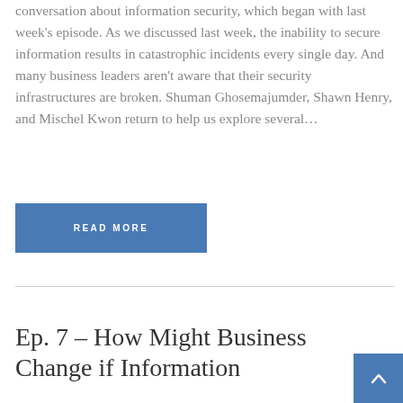conversation about information security, which began with last week’s episode. As we discussed last week, the inability to secure information results in catastrophic incidents every single day. And many business leaders aren’t aware that their security infrastructures are broken. Shuman Ghosemajumder, Shawn Henry, and Mischel Kwon return to help us explore several…
READ MORE
Ep. 7 – How Might Business Change if Information